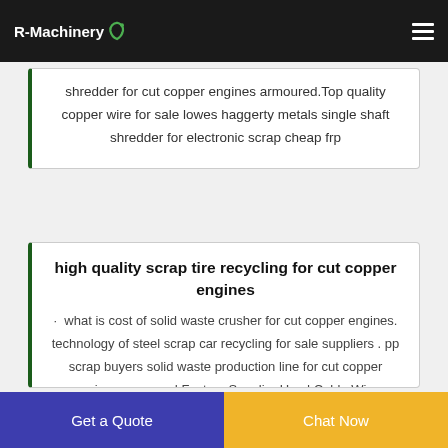R-Machinery
shredder for cut copper engines armoured.Top quality copper wire for sale lowes haggerty metals single shaft shredder for electronic scrap cheap frp
high quality scrap tire recycling for cut copper engines
· what is cost of solid waste crusher for cut copper engines. technology of steel scrap car recycling for sale suppliers . pp scrap buyers solid waste production line for cut copper engines armoured Factory Supplier Used Cable Wire Recycle Machine MPET Film Aluminum and Plastic Separating Machine low